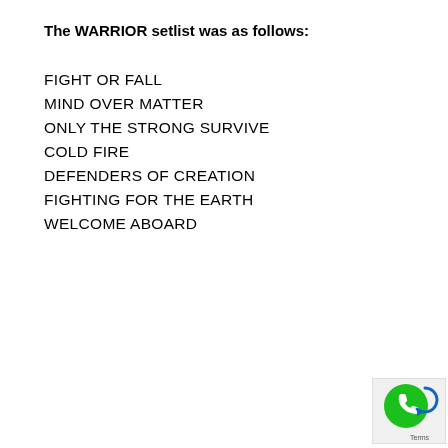The WARRIOR setlist was as follows:
FIGHT OR FALL
MIND OVER MATTER
ONLY THE STRONG SURVIVE
COLD FIRE
DEFENDERS OF CREATION
FIGHTING FOR THE EARTH
WELCOME ABOARD
[Figure (other): Green phone/call icon with refresh arrow overlay and 'Terms' text label, bottom-right corner UI widget]